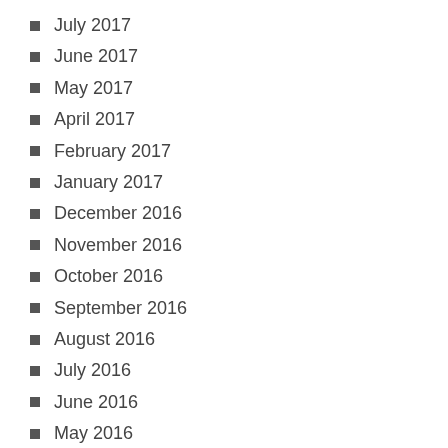July 2017
June 2017
May 2017
April 2017
February 2017
January 2017
December 2016
November 2016
October 2016
September 2016
August 2016
July 2016
June 2016
May 2016
April 2016
March 2016
February 2016